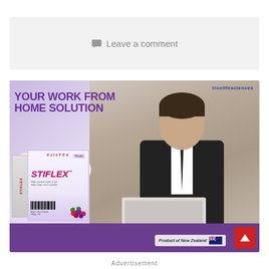💬 Leave a comment
[Figure (infographic): Advertisement for Stiflex supplement by truelifesciences. Shows a stressed man in a suit at a laptop, with text 'YOUR WORK FROM HOME SOLUTION', icons for eye, neck, and shoulder relief, a product box labeled STIFLEX, and 'Product of New Zealand' badge with NZ flag. Purple and white color scheme.]
Advertisement